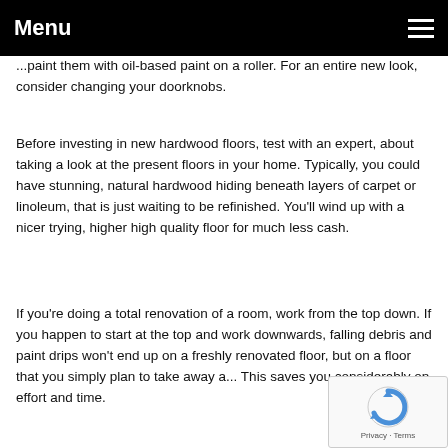Menu
...paint them with oil-based paint on a roller. For an entire new look, consider changing your doorknobs.
Before investing in new hardwood floors, test with an expert, about taking a look at the present floors in your home. Typically, you could have stunning, natural hardwood hiding beneath layers of carpet or linoleum, that is just waiting to be refinished. You'll wind up with a nicer trying, higher high quality floor for much less cash.
If you're doing a total renovation of a room, work from the top down. If you happen to start at the top and work downwards, falling debris and paint drips won't end up on a freshly renovated floor, but on a floor that you simply plan to take away a... This saves you considerably on effort and time.